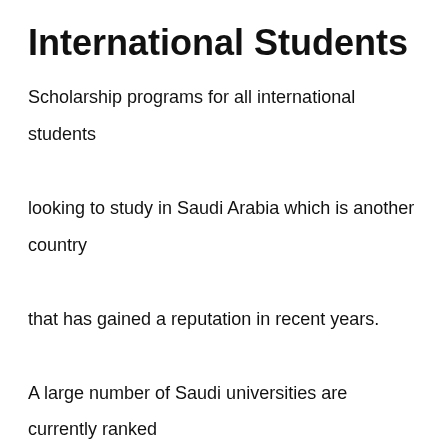International Students
Scholarship programs for all international students looking to study in Saudi Arabia which is another country that has gained a reputation in recent years.

A large number of Saudi universities are currently ranked among the best research centers in the world. If you are looking to continue your studies abroad while saving money and enjoying some great travel opportunities, then this is your ideal destination.

Every year NGOs, universities and the government of